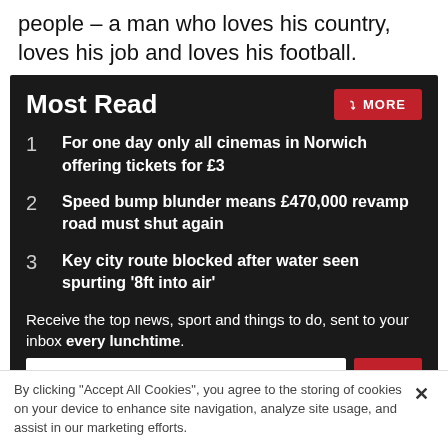people – a man who loves his country, loves his job and loves his football.
Most Read
For one day only all cinemas in Norwich offering tickets for £3
Speed bump blunder means £470,000 revamp road must shut again
Key city route blocked after water seen spurting '8ft into air'
Receive the top news, sport and things to do, sent to your inbox every lunchtime.
By clicking "Accept All Cookies", you agree to the storing of cookies on your device to enhance site navigation, analyze site usage, and assist in our marketing efforts.